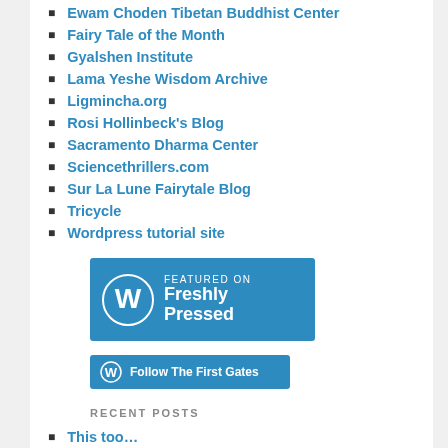Ewam Choden Tibetan Buddhist Center
Fairy Tale of the Month
Gyalshen Institute
Lama Yeshe Wisdom Archive
Ligmincha.org
Rosi Hollinbeck's Blog
Sacramento Dharma Center
Sciencethrillers.com
Sur La Lune Fairytale Blog
Tricycle
Wordpress tutorial site
[Figure (logo): WordPress Featured on Freshly Pressed badge — blue rectangle with WordPress logo circle on left and text 'FEATURED ON Freshly Pressed' on right]
[Figure (logo): WordPress Follow button — blue rectangle with WordPress logo and text 'Follow The First Gates']
RECENT POSTS
This too…